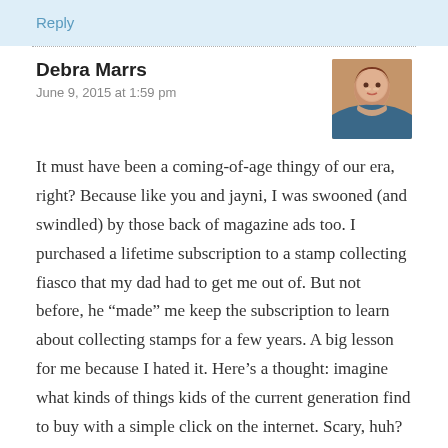Reply
Debra Marrs
June 9, 2015 at 1:59 pm
[Figure (photo): Profile photo of a woman with reddish-brown hair smiling, wearing a blue top]
It must have been a coming-of-age thingy of our era, right? Because like you and jayni, I was swooned (and swindled) by those back of magazine ads too. I purchased a lifetime subscription to a stamp collecting fiasco that my dad had to get me out of. But not before, he “made” me keep the subscription to learn about collecting stamps for a few years. A big lesson for me because I hated it. Here’s a thought: imagine what kinds of things kids of the current generation find to buy with a simple click on the internet. Scary, huh?